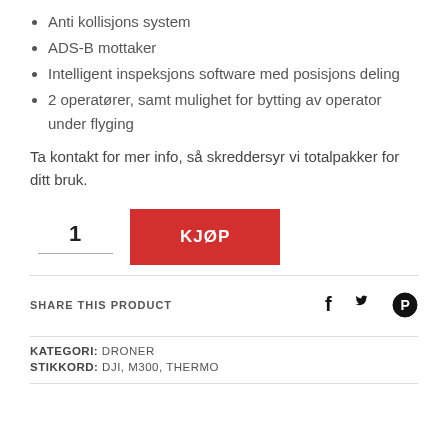Anti kollisjons system
ADS-B mottaker
Intelligent inspeksjons software med posisjons deling
2 operatører, samt mulighet for bytting av operator under flyging
Ta kontakt for mer info, så skreddersyr vi totalpakker for ditt bruk.
1  KJØP
SHARE THIS PRODUCT
KATEGORI: DRONER
STIKKORD: DJI, M300, THERMO